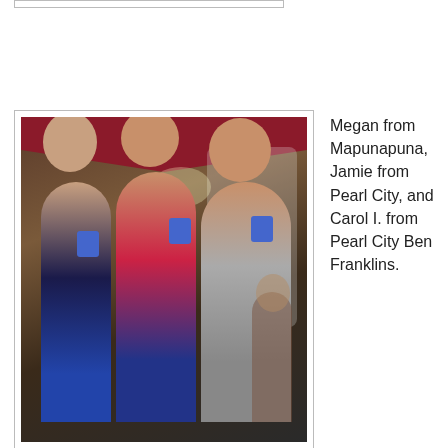[Figure (photo): Three women standing together holding blue mugs, smiling at camera, at what appears to be an indoor market or event with decorations in the background. Woman on left wears blue top, woman in middle wears pink/red top with a bag, woman on right wears grey hoodie.]
Megan from Mapunapuna, Jamie from Pearl City, and Carol I. from Pearl City Ben Franklins.